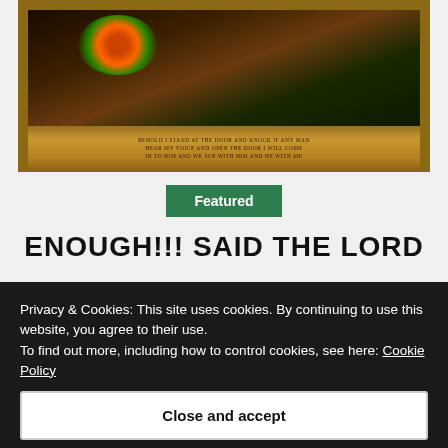[Figure (photo): Photograph of an ornate gilded wooden frame containing a dark religious painting. The frame has decorative pillars on each side and a carved base with an inscribed text reading: 'BEHOLD I STAND AT THE DOOR AND KNOCK IF ANY MAN HEAR MY VOICE AND OPEN THE DOOR I WILL COME IN TO HIM AND WE SUP WITH HIM AND HE WITH ME']
Featured
ENOUGH!!! SAID THE LORD
Privacy & Cookies: This site uses cookies. By continuing to use this website, you agree to their use.
To find out more, including how to control cookies, see here: Cookie Policy
Close and accept
DARLING CHILDREN, WHO I LOVE DEARLY, THE